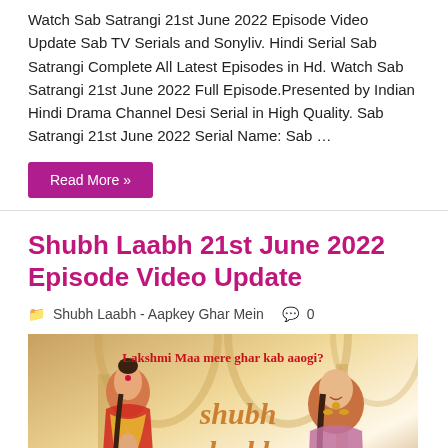Watch Sab Satrangi 21st June 2022 Episode Video Update Sab TV Serials and Sonyliv. Hindi Serial Sab Satrangi Complete All Latest Episodes in Hd. Watch Sab Satrangi 21st June 2022 Full Episode.Presented by Indian Hindi Drama Channel Desi Serial in High Quality. Sab Satrangi 21st June 2022 Serial Name: Sab …
Read More »
Shubh Laabh 21st June 2022 Episode Video Update
Shubh Laabh - Aapkey Ghar Mein  0
[Figure (photo): Promotional poster for Shubh Laabh - Aapkey Ghar Mein TV serial showing two women and the show logo with text 'Lakshmi Maa mere ghar kab aaogi?' and stylized 'Shubh Laabh' branding]